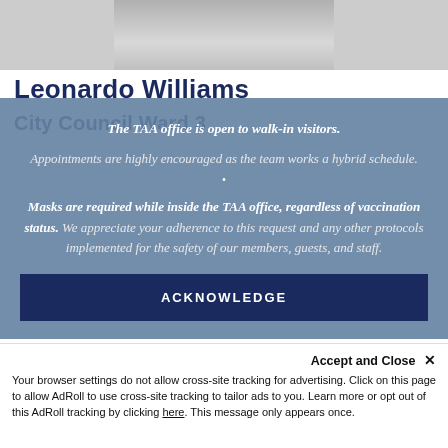[Figure (photo): Partial photo of a person in a suit, cropped at the top of the page]
Leonardo Williams
City Council Ward 3
The TAA office is open to walk-in visitors.

Appointments are highly encouraged as the team works a hybrid schedule.

•

Masks are required while inside the TAA office, regardless of vaccination status. We appreciate your adherence to this request and any other protocols implemented for the safety of our members, guests, and staff.
ACKNOWLEDGE
[Figure (photo): Bottom strip showing partial photos]
Accept and Close ×
Your browser settings do not allow cross-site tracking for advertising. Click on this page to allow AdRoll to use cross-site tracking to tailor ads to you. Learn more or opt out of this AdRoll tracking by clicking here. This message only appears once.